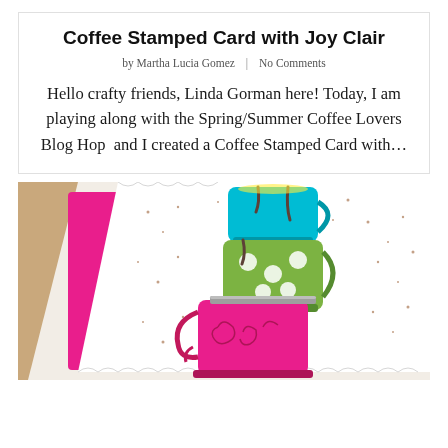Coffee Stamped Card with Joy Clair
by Martha Lucia Gomez  |  No Comments
Hello crafty friends, Linda Gorman here! Today, I am playing along with the Spring/Summer Coffee Lovers Blog Hop  and I created a Coffee Stamped Card with…
[Figure (photo): A crafted coffee stamped card showing stacked colorful coffee cups (pink, green, teal) with decorative dotted pattern on white scalloped background, on pink card base]